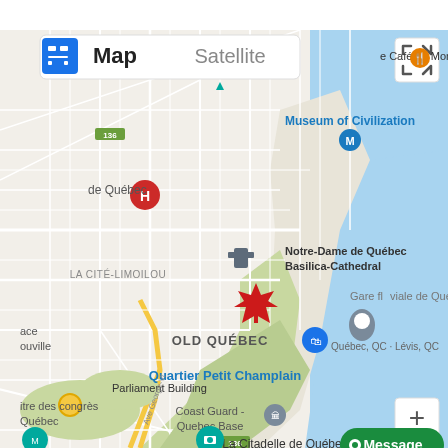[Figure (map): Google Maps view of Old Quebec City area showing landmarks including Museum of Civilization, Notre-Dame de Québec Basilica-Cathedral, Quartier Petit Champlain, La Citadelle de Québec, Coast Guard Quebec Base, Parliament Building, LA CITÉ-LIMOILOU, Gare fluviale de Québec, Québec QC - Lévis QC label. A red maple leaf marker is placed over Old Quebec. Map/Satellite toggle and fullscreen button visible at top. Message button at bottom right. Plus zoom button at bottom right.]